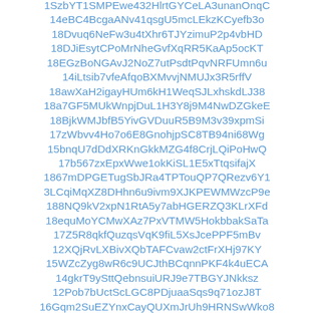1SzbYT1SMPEwe432HlrtGYCeLA3unanOnqC
14eBC4BcgaANv41qsgU5mcLEkzKCyefb3o
18Dvuq6NeFw3u4tXhr6TJYzimuP2p4vbHD
18DJiEsytCPoMrNheGvfXqRR5KaAp5ocKT
18EGzBoNGAvJ2NoZ7utPsdtPqvNRFUmn6u
14iLtsib7vfeAfqoBXMvvjNMUJx3R5rffV
18awXaH2igayHUm6kH1WeqSJLxhskdLJ38
18a7GF5MUkWnpjDuL1H3Y8j9M4NwDZGkeE
18BjkWMJbfB5YivGVDuuR5B9M3v39xpmSi
17zWbvv4Ho7o6E8GnohjpSC8TB94ni68Wg
15bnqU7dDdXRKnGkkMZG4f8CrjLQiPoHwQ
17b567zxEpxWwe1okKiSL1E5xTtqsifajX
1867mDPGETugSbJRa4TPTouQP7QRezv6Y1
3LCqiMqXZ8DHhn6u9ivm9XJKPEWMWzcP9e
188NQ9kV2xpN1RtA5y7abHGERZQ3KLrXFd
18equMoYCMwXAz7PxVTMW5HokbbakSaTa
17Z5R8qkfQuzqsVqK9fiL5XsJcePPF5mBv
12XQjRvLXBivXQbTAFCvaw2ctFrXHj97KY
15WZcZyg8wR6c9UCJthBCqnnPKF4k4uECA
14gkrT9ySttQebnsuiURJ9e7TBGYJNkksz
12Pob7bUctScLGC8PDjuaaSqs9q71ozJ8T
16Gqm2SuEZYnxCayQUXmJrUh9HRNSwWko8
17r9cRedZx1XPst4UUEwMaHwWhthB28aVm